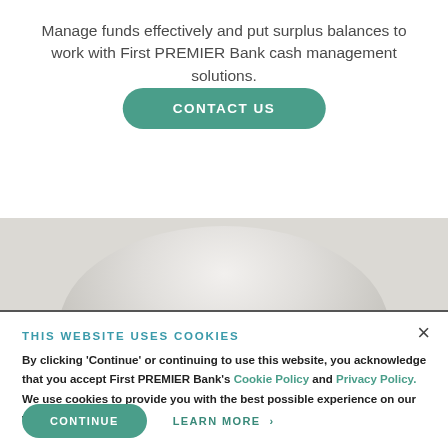Manage funds effectively and put surplus balances to work with First PREMIER Bank cash management solutions.
[Figure (other): Green rounded pill button labeled CONTACT US]
[Figure (photo): Partial view of a circular/bowl-shaped object, light gray tones, cropped at the bottom of the upper section]
THIS WEBSITE USES COOKIES
By clicking 'Continue' or continuing to use this website, you acknowledge that you accept First PREMIER Bank's Cookie Policy and Privacy Policy. We use cookies to provide you with the best possible experience on our website.
[Figure (other): Green rounded pill button labeled CONTINUE and teal text link LEARN MORE >]